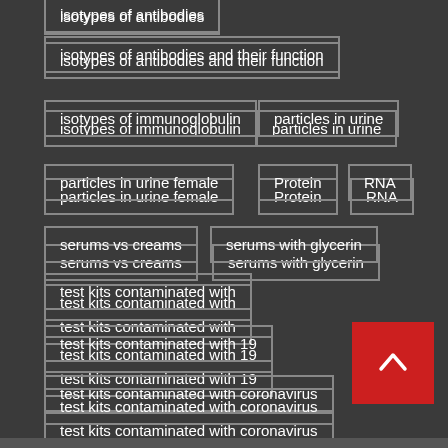isotypes of antibodies
isotypes of antibodies and their function
isotypes of immunoglobulin
particles in urine
particles in urine female
Protein
RNA
serums vs creams
serums with glycerin
test kits contaminated with
test kits contaminated with 19
test kits contaminated with coronavirus
test kits fda
test kits for
test kits for coronavirus